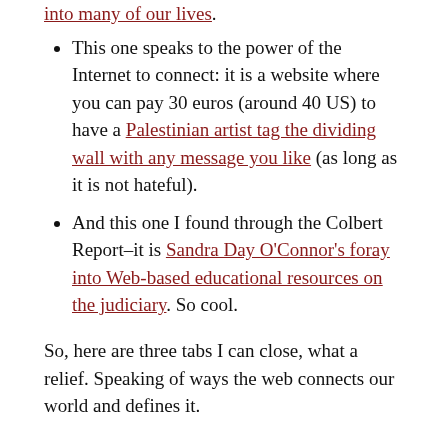This one speaks to the power of the Internet to connect: it is a website where you can pay 30 euros (around 40 US) to have a Palestinian artist tag the dividing wall with any message you like (as long as it is not hateful).
And this one I found through the Colbert Report–it is Sandra Day O'Connor's foray into Web-based educational resources on the judiciary. So cool.
So, here are three tabs I can close, what a relief. Speaking of ways the web connects our world and defines it.
Inspirational Quote:
“It started from a long period, it is about a...